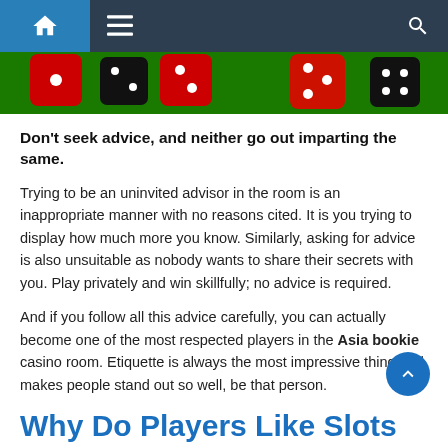Navigation bar with home, menu, and search icons
[Figure (photo): Partial photo of colorful casino dice (red, black, white) on a green surface]
Don't seek advice, and neither go out imparting the same.
Trying to be an uninvited advisor in the room is an inappropriate manner with no reasons cited. It is you trying to display how much more you know. Similarly, asking for advice is also unsuitable as nobody wants to share their secrets with you. Play privately and win skillfully; no advice is required.
And if you follow all this advice carefully, you can actually become one of the most respected players in the Asia bookie casino room. Etiquette is always the most impressive thing and makes people stand out so well, be that person.
Why Do Players Like Slots